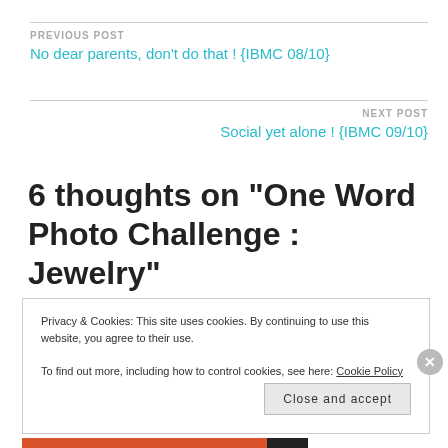PREVIOUS POST
No dear parents, don't do that ! {IBMC 08/10}
NEXT POST
Social yet alone ! {IBMC 09/10}
6 thoughts on “One Word Photo Challenge : Jewelry”
Privacy & Cookies: This site uses cookies. By continuing to use this website, you agree to their use.
To find out more, including how to control cookies, see here: Cookie Policy
Close and accept